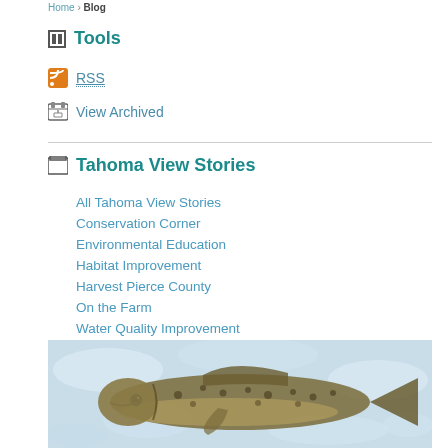Home › Blog
Tools
RSS
View Archived
Tahoma View Stories
All Tahoma View Stories
Conservation Corner
Environmental Education
Habitat Improvement
Harvest Pierce County
On the Farm
Water Quality Improvement
[Figure (photo): A salmon or trout fish lying on ice, viewed from the side, showing spotted pattern and fins.]